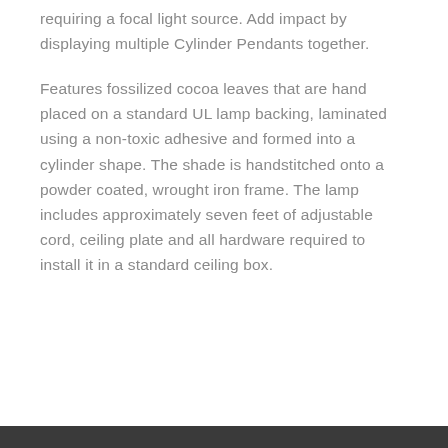requiring a focal light source. Add impact by displaying multiple Cylinder Pendants together.
Features fossilized cocoa leaves that are hand placed on a standard UL lamp backing, laminated using a non-toxic adhesive and formed into a cylinder shape. The shade is handstitched onto a powder coated, wrought iron frame. The lamp includes approximately seven feet of adjustable cord, ceiling plate and all hardware required to install it in a standard ceiling box.